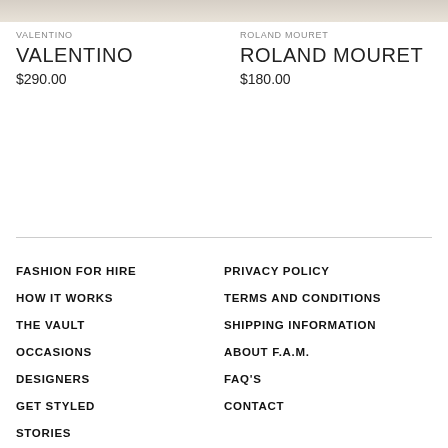[Figure (photo): Partial product image for Valentino item, cropped at top]
VALENTINO
VALENTINO
$290.00
[Figure (photo): Partial product image for Roland Mouret item, cropped at top]
ROLAND MOURET
ROLAND MOURET
$180.00
FASHION FOR HIRE
HOW IT WORKS
THE VAULT
OCCASIONS
DESIGNERS
GET STYLED
STORIES
PRE-LOVED
PRIVACY POLICY
TERMS AND CONDITIONS
SHIPPING INFORMATION
ABOUT F.A.M.
FAQ'S
CONTACT